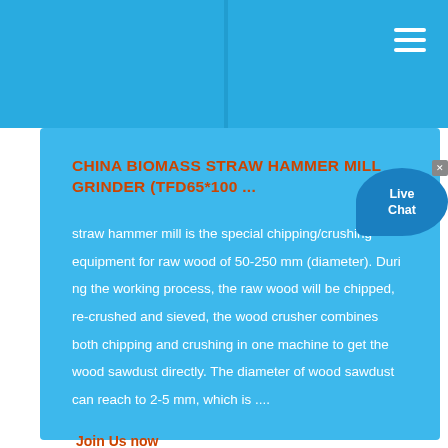CHINA BIOMASS STRAW HAMMER MILL GRINDER (TFD65*100 ...
straw hammer mill is the special chipping/crushing equipment for raw wood of 50-250 mm (diameter). During the working process, the raw wood will be chipped, re-crushed and sieved, the wood crusher combines both chipping and crushing in one machine to get the wood sawdust directly. The diameter of wood sawdust can reach to 2-5 mm, which is ....
Join Us now